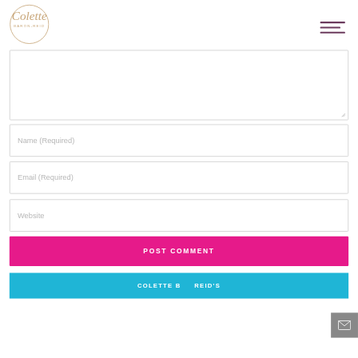[Figure (logo): Colette Baron-Reid logo in a circle with cursive text]
[Figure (other): Hamburger menu icon with three horizontal lines in dark purple]
Name (Required)
Email (Required)
Website
POST COMMENT
[Figure (screenshot): Bottom banner image showing COLETTE BARON-REID'S text on blue background]
[Figure (other): Grey email/envelope button in bottom right corner]